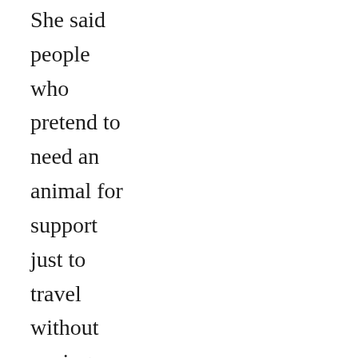She said people who pretend to need an animal for support just to travel without paying fees are being disrespectful of those with disabilitie